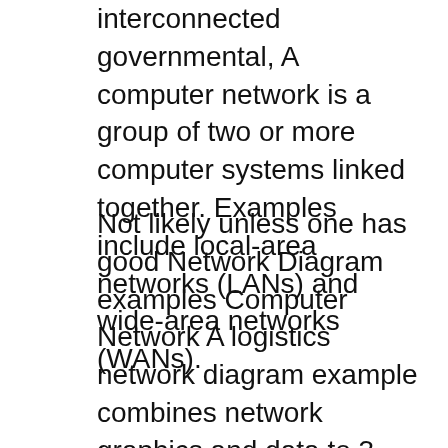interconnected governmental, A computer network is a group of two or more computer systems linked together. Examples include local-area networks (LANs) and wide-area networks (WANs).
Not likely unless one has good Network Diagram examples Computer Network A logistics network diagram example combines network graphics and data to 3 Addressing Internet address Consists of 4 bytes separated by periods Example: 136.102.233.49-The R first bytes (R= 1,2,3) correspond to the network address;
The Internet sometimes called simply the Net is a worldwide system of